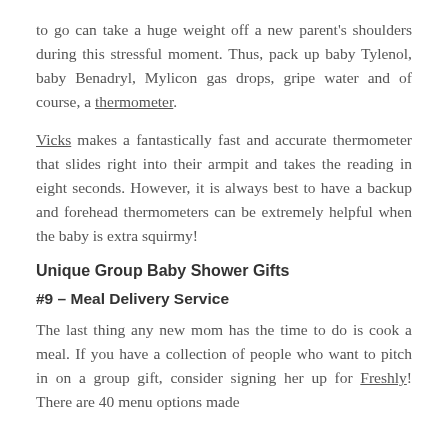to go can take a huge weight off a new parent's shoulders during this stressful moment. Thus, pack up baby Tylenol, baby Benadryl, Mylicon gas drops, gripe water and of course, a thermometer.
Vicks makes a fantastically fast and accurate thermometer that slides right into their armpit and takes the reading in eight seconds. However, it is always best to have a backup and forehead thermometers can be extremely helpful when the baby is extra squirmy!
Unique Group Baby Shower Gifts
#9 - Meal Delivery Service
The last thing any new mom has the time to do is cook a meal. If you have a collection of people who want to pitch in on a group gift, consider signing her up for Freshly! There are 40 menu options made